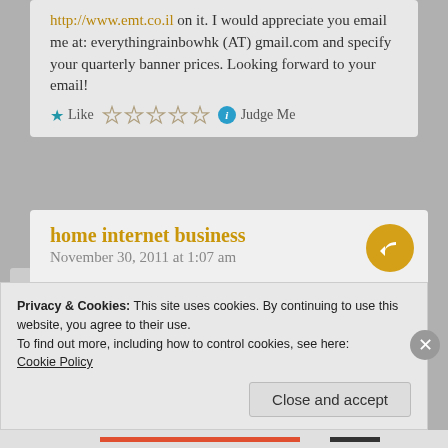http://www.emt.co.il on it. I would appreciate you email me at: everythingrainbowhk (AT) gmail.com and specify your quarterly banner prices. Looking forward to your email!
★ Like ☆☆☆☆☆ ⓘ Judge Me
home internet business
November 30, 2011 at 1:07 am

awesome just awesome.
Privacy & Cookies: This site uses cookies. By continuing to use this website, you agree to their use.
To find out more, including how to control cookies, see here:
Cookie Policy
Close and accept